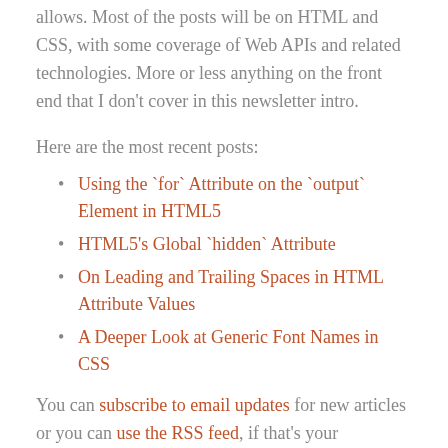allows. Most of the posts will be on HTML and CSS, with some coverage of Web APIs and related technologies. More or less anything on the front end that I don't cover in this newsletter intro.
Here are the most recent posts:
Using the `for` Attribute on the `output` Element in HTML5
HTML5's Global `hidden` Attribute
On Leading and Trailing Spaces in HTML Attribute Values
A Deeper Look at Generic Font Names in CSS
You can subscribe to email updates for new articles or you can use the RSS feed, if that's your preference.
That's my shameless self-plug for this week. I'll get back to